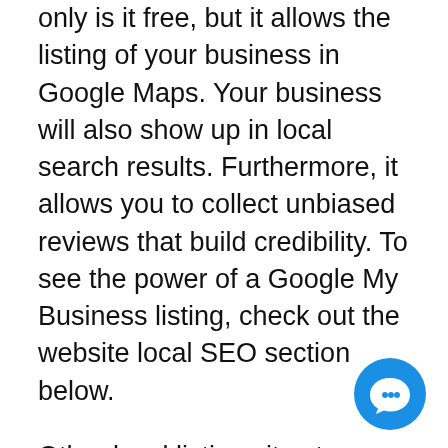only is it free, but it allows the listing of your business in Google Maps. Your business will also show up in local search results. Furthermore, it allows you to collect unbiased reviews that build credibility. To see the power of a Google My Business listing, check out the website local SEO section below.
Other local listing sites to consider include Zillow, Yelp!, AngiesList, and any hyper-local listings in your community.
Website Local SEO
Another low-hanging-fruit